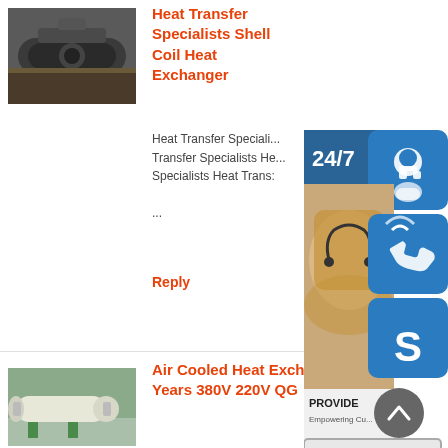[Figure (photo): Close-up photo of a shell coil heat exchanger component, dark metallic industrial part on a lathe or workbench]
Heat Transfer Specialists Shell Coil Heat Exchanger
Heat Transfer Specialists Heat Transfer Specialists Heat Transfer Specialists Heat Trans: ...
Reply
[Figure (infographic): Customer service overlay panel showing 24/7 support banner, female customer service representative photo, PROVIDE Empowering Customers text, headset icon button, phone icon button, Skype icon button, and online live button]
[Figure (photo): Photo of a large white horizontal cylindrical air cooled heat exchanger vessel inside an industrial building with green supports]
Air Cooled Heat Exchanger Price 16 Years 380V 220V QG